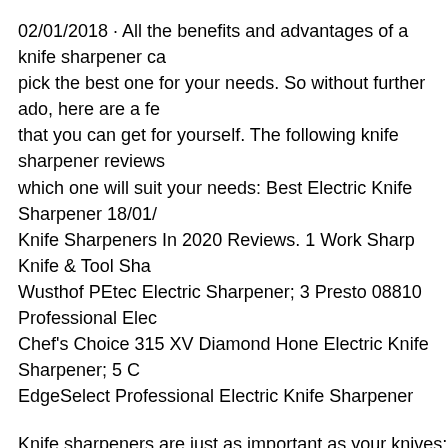02/01/2018 · All the benefits and advantages of a knife sharpener can pick the best one for your needs. So without further ado, here are a few that you can get for yourself. The following knife sharpener reviews which one will suit your needs: Best Electric Knife Sharpener 18/01/ Knife Sharpeners In 2020 Reviews. 1 Work Sharp Knife & Tool Sha Wusthof PEtec Electric Sharpener; 3 Presto 08810 Professional Elec Chef's Choice 315 XV Diamond Hone Electric Knife Sharpener; 5 C EdgeSelect Professional Electric Knife Sharpener
Knife sharpeners are just as important as your knives; but sad to say, one that truly caters the needs of customers. As a potential buyer, it p best pocket knife sharpener reviews and carefully ask yourself on wh sharpener. Best Knife Sharpener 2019 – Reviews and Buying Guide the kitchen for both regular households and commercial food establis and meat vendors. Ready to use knives are invaluable aids to your co …
Everything about sharpening angles Five reasons to sharpen your kni How to sharpen a knife in the field How to sharpen scissors? Metho